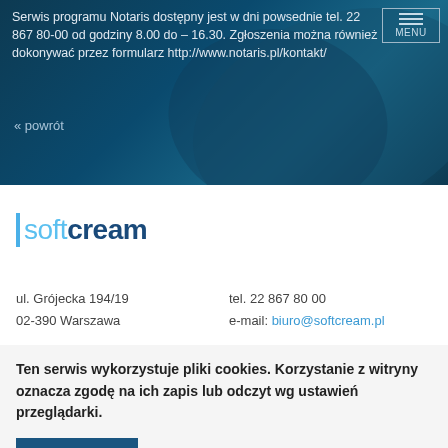Serwis programu Notaris dostępny jest w dni powsednie tel. 22 867 80-00 od godziny 8.00 do – 16.30. Zgłoszenia można również dokonywać przez formularz http://www.notaris.pl/kontakt/
« powrót
[Figure (logo): softcream company logo with blue accent bar and two-tone text]
ul. Grójecka 194/19
02-390 Warszawa
tel. 22 867 80 00
e-mail: biuro@softcream.pl
Ten serwis wykorzystuje pliki cookies. Korzystanie z witryny oznacza zgodę na ich zapis lub odczyt wg ustawień przeglądarki.
Akceptuję